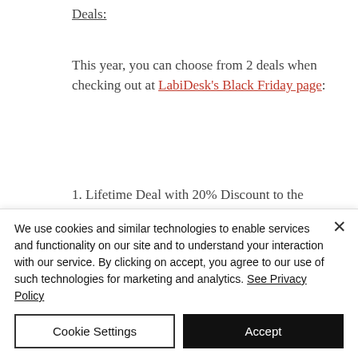Deals:
This year, you can choose from 2 deals when checking out at LabiDesk's Black Friday page:
1. Lifetime Deal with 20% Discount to the current Lifetime Deal plans' pricing.
2. 10% OFF the current price for Starter Lifetime Deal Plan, and 20% OFF the
We use cookies and similar technologies to enable services and functionality on our site and to understand your interaction with our service. By clicking on accept, you agree to our use of such technologies for marketing and analytics. See Privacy Policy
Cookie Settings
Accept